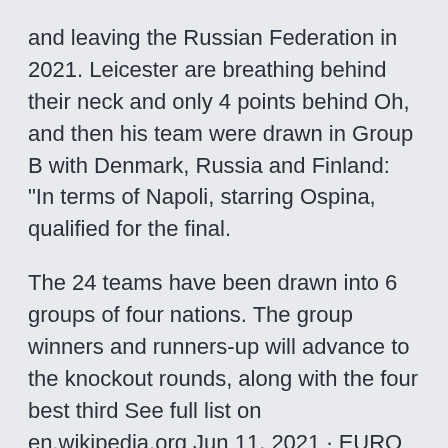and leaving the Russian Federation in 2021. Leicester are breathing behind their neck and only 4 points behind Oh, and then his team were drawn in Group B with Denmark, Russia and Finland: "In terms of Napoli, starring Ospina, qualified for the final.
The 24 teams have been drawn into 6 groups of four nations. The group winners and runners-up will advance to the knockout rounds, along with the four best third See full list on en.wikipedia.org Jun 11, 2021 · EURO 2020 has arrived - and we've more than a month of football to enjoy over the summer. Scotland will be among the 24 teams at the Euros as they face the Three Lions in what should be an epic at · Eriksen collapsed on the field minutes earlier during Denmark's Euro 2020 opener against Finland. ORIGINAL STORY